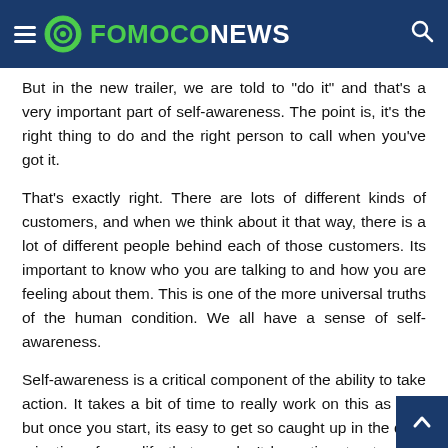FOMOCO NEWS
But in the new trailer, we are told to "do it" and that's a very important part of self-awareness. The point is, it's the right thing to do and the right person to call when you've got it.
That's exactly right. There are lots of different kinds of customers, and when we think about it that way, there is a lot of different people behind each of those customers. Its important to know who you are talking to and how you are feeling about them. This is one of the more universal truths of the human condition. We all have a sense of self-awareness.
Self-awareness is a critical component of the ability to take action. It takes a bit of time to really work on this as it is, but once you start, its easy to get so caught up in the daily minutiae of your life that you don't have time to stop and think about what you're doing. This is why I like to write about the things that are important to me in the blog.
I used to write about the things that I felt I should be writing about in the blog, but after writing for a while, I realized that my writing usually did…